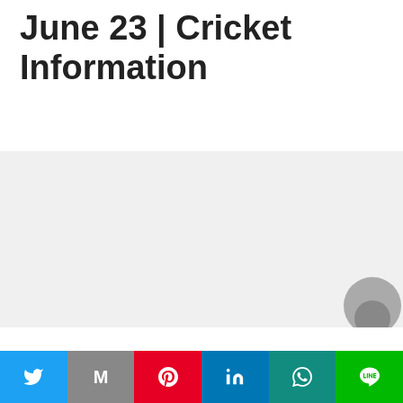June 23 | Cricket Information
[Figure (other): Advertisement or placeholder gray block with a circular icon in the lower right corner]
Chepauk Tremendous Gillies (CSG) will face Nellai
Twitter | Gmail | Pinterest | LinkedIn | WhatsApp | Line share buttons